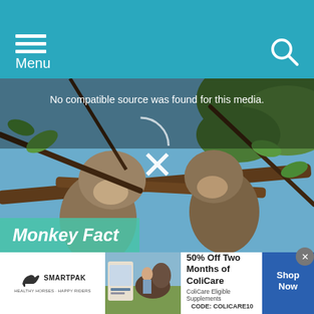Menu
[Figure (screenshot): Video player showing two monkeys on a tree branch with text 'No compatible source was found for this media.' and an X icon overlay. A teal label reads 'Monkey Fact' in italic bold text at the bottom left.]
Facts for Kids
4. The Western Highlands
[Figure (other): Advertisement banner for SmartPak showing '50% Off Two Months of ColiCare' with a horse image and 'Shop Now' button. Code: COLICARE10.]